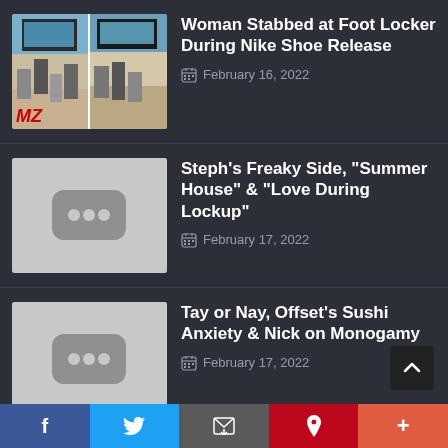[Figure (screenshot): Thumbnail photo from TMZ showing people fighting/crowding outside Foot Locker store, two panels side by side]
Woman Stabbed at Foot Locker During Nike Shoe Release
February 16, 2022
[Figure (screenshot): Gray placeholder thumbnail with dark rounded rectangle and three dots icon]
Steph's Freaky Side, "Summer House" & "Love During Lockup"
February 17, 2022
[Figure (screenshot): Gray placeholder thumbnail with dark rounded rectangle and three dots icon]
Tay or Nay, Offset's Sushi Anxiety & Nick on Monogamy
February 17, 2022